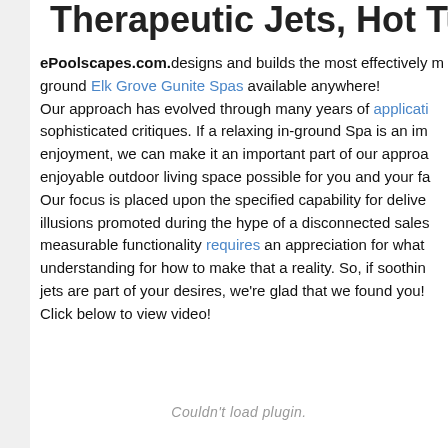Therapeutic Jets, Hot Tubs
ePoolscapes.com. designs and builds the most effectively m... ground Elk Grove Gunite Spas available anywhere! Our approach has evolved through many years of applicati... sophisticated critiques. If a relaxing in-ground Spa is an im... enjoyment, we can make it an important part of our approa... enjoyable outdoor living space possible for you and your fa... Our focus is placed upon the specified capability for delive... illusions promoted during the hype of a disconnected sales... measurable functionality requires an appreciation for what... understanding for how to make that a reality. So, if soothin... jets are part of your desires, we're glad that we found you! Click below to view video!
Couldn't load plugin.